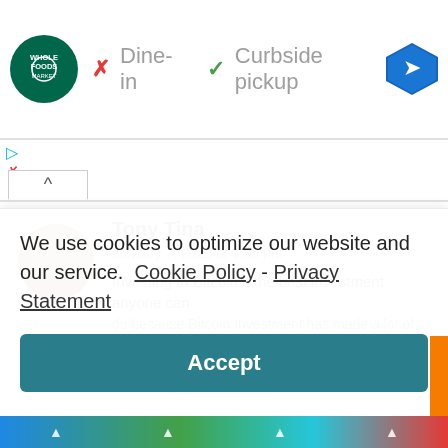[Figure (screenshot): Whole Foods Market logo — green circle with 'WHOLE FOODS MARKET' text in white]
✗ Dine-in  ✓ Curbside pickup
[Figure (illustration): Blue diamond navigation arrow icon (Google Maps style)]
▷
✗
[Figure (photo): Circular profile photo of a woman (Tony Tina)]
Tony Tina
January 7, 2022 at 1:35 pm
Investing In Bitcoin it the best investment anyone can do because Bitcoin Investment has made a lot of
We use cookies to optimize our website and our service.  Cookie Policy - Privacy Statement
Accept